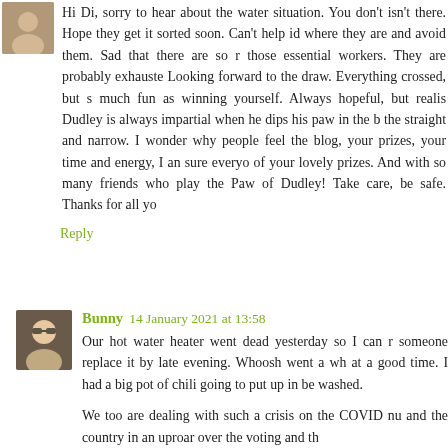Hi Di, sorry to hear about the water situation. You don't isn't there. Hope they get it sorted soon. Can't help id where they are and avoid them. Sad that there are so those essential workers. They are probably exhauste Looking forward to the draw. Everything crossed, but s much fun as winning yourself. Always hopeful, but realis Dudley is always impartial when he dips his paw in the the straight and narrow. I wonder why people feel the blog, your prizes, your time and energy, I an sure everyo of your lovely prizes. And with so many friends who pla the Paw of Dudley! Take care, be safe. Thanks for all yo
Reply
Bunny  14 January 2021 at 13:58
Our hot water heater went dead yesterday so I can r someone replace it by late evening. Whoosh went a wh at a good time. I had a big pot of chili going to put up in be washed.
We too are dealing with such a crisis on the COVID nu and the country in an uproar over the voting and th